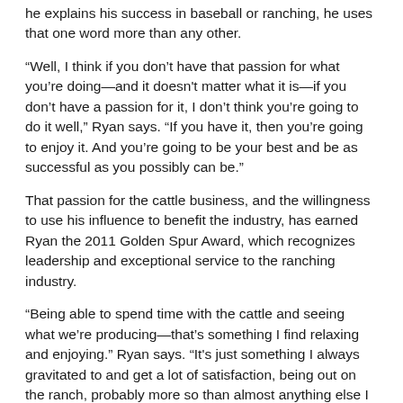he explains his success in baseball or ranching, he uses that one word more than any other.
“Well, I think if you don’t have that passion for what you’re doing—and it doesn't matter what it is—if you don’t have a passion for it, I don’t think you’re going to do it well,” Ryan says. “If you have it, then you’re going to enjoy it. And you’re going to be your best and be as successful as you possibly can be.”
That passion for the cattle business, and the willingness to use his influence to benefit the industry, has earned Ryan the 2011 Golden Spur Award, which recognizes leadership and exceptional service to the ranching industry.
“Being able to spend time with the cattle and seeing what we’re producing—that’s something I find relaxing and enjoying.” Ryan says. “It’s just something I always gravitated to and get a lot of satisfaction, being out on the ranch, probably more so than almost anything else I do.”